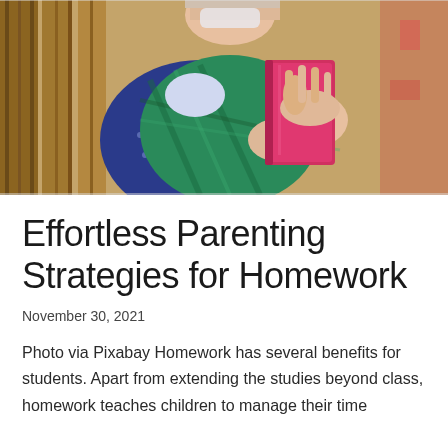[Figure (photo): A person wearing a green plaid shirt and blue polka-dot top, hugging a red/pink binder or folder against their chest, standing in a hallway with wooden walls.]
Effortless Parenting Strategies for Homework
November 30, 2021
Photo via Pixabay Homework has several benefits for students. Apart from extending the studies beyond class, homework teaches children to manage their time